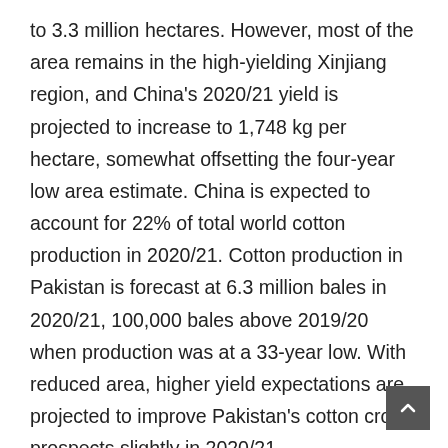to 3.3 million hectares. However, most of the area remains in the high-yielding Xinjiang region, and China's 2020/21 yield is projected to increase to 1,748 kg per hectare, somewhat offsetting the four-year low area estimate. China is expected to account for 22% of total world cotton production in 2020/21. Cotton production in Pakistan is forecast at 6.3 million bales in 2020/21, 100,000 bales above 2019/20 when production was at a 33-year low. With reduced area, higher yield expectations are projected to improve Pakistan's cotton crop prospects slightly in 2020/21. Meanwhile, cotton production in the Southern Hemisphere countries of Brazil and Australia is projected to move in opposite directions in 2020/21.